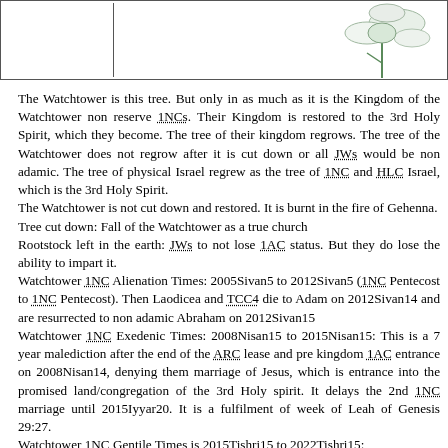[Figure (photo): Image strip at top of page: left box is empty white, right portion shows partial image of a flower (green and white petals) on white background.]
The Watchtower is this tree. But only in as much as it is the Kingdom of the Watchtower non reserve 1NCs. Their Kingdom is restored to the 3rd Holy Spirit, which they become. The tree of their kingdom regrows. The tree of the Watchtower does not regrow after it is cut down or all JWs would be non adamic. The tree of physical Israel regrew as the tree of 1NC and HLC Israel, which is the 3rd Holy Spirit.
The Watchtower is not cut down and restored. It is burnt in the fire of Gehenna.
Tree cut down: Fall of the Watchtower as a true church
Rootstock left in the earth: JWs to not lose 1AC status. But they do lose the ability to impart it.
Watchtower 1NC Alienation Times: 2005Sivan5 to 2012Sivan5 (1NC Pentecost to 1NC Pentecost). Then Laodicea and TCC4 die to Adam on 2012Sivan14 and are resurrected to non adamic Abraham on 2012Sivan15
Watchtower 1NC Exedenic Times: 2008Nisan15 to 2015Nisan15: This is a 7 year malediction after the end of the ARC lease and pre kingdom 1AC entrance on 2008Nisan14, denying them marriage of Jesus, which is entrance into the promised land/congregation of the 3rd Holy spirit. It delays the 2nd 1NC marriage until 2015Iyyar20. It is a fulfilment of week of Leah of Genesis 29:27.
Watchtower 1NC Gentile Times is 2015Tishri15 to 2022Tishri15: